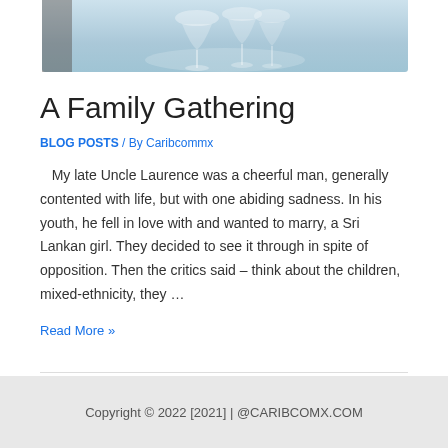[Figure (photo): Cropped photo showing a dining table setting with glassware, light blue/white tones, partial view of a person]
A Family Gathering
BLOG POSTS / By Caribcommx
My late Uncle Laurence was a cheerful man, generally contented with life, but with one abiding sadness. In his youth, he fell in love with and wanted to marry, a Sri Lankan girl. They decided to see it through in spite of opposition. Then the critics said – think about the children, mixed-ethnicity, they …
Read More »
Copyright © 2022 [2021] | @CARIBCOMX.COM